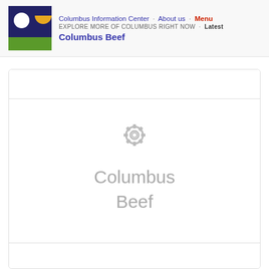Columbus Information Center · About us · Menu
EXPLORE MORE OF COLUMBUS RIGHT NOW · Latest
Columbus Beef
[Figure (logo): Columbus Information Center logo: dark blue square with white circle and yellow/orange half-circle top right, green rectangle bottom]
[Figure (illustration): Placeholder card with a grey loading/spinner gear icon and grey text reading 'Columbus Beef']